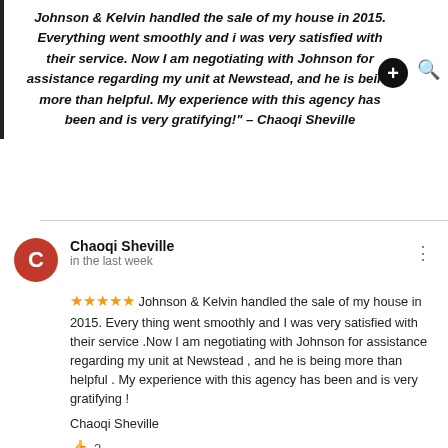Johnson & Kelvin handled the sale of my house in 2015. Everything went smoothly and i was very satisfied with their service. Now I am negotiating with Johnson for assistance regarding my unit at Newstead, and he is being more than helpful. My experience with this agency has been and is very gratifying!" – Chaoqi Sheville
Chaoqi Sheville
in the last week
★★★★★ Johnson & Kelvin handled the sale of my house in 2015. Every thing went smoothly and I was very satisfied with their service .Now I am negotiating with Johnson for assistance regarding my unit at Newstead , and he is being more than helpful . My experience with this agency has been and is very gratifying !
Chaoqi Sheville
👍 2